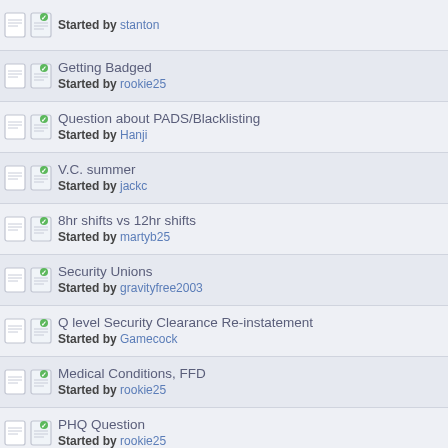Started by stanton
Getting Badged
Started by rookie25
Question about PADS/Blacklisting
Started by Hanji
V.C. summer
Started by jackc
8hr shifts vs 12hr shifts
Started by martyb25
Security Unions
Started by gravityfree2003
Q level Security Clearance Re-instatement
Started by Gamecock
Medical Conditions, FFD
Started by rookie25
PHQ Question
Started by rookie25
Failed FFD! how to get back in?
Started by Ed
Question on denial, and getting another job
Started by NEnukeGuy
Duke Energy
Started by jackc